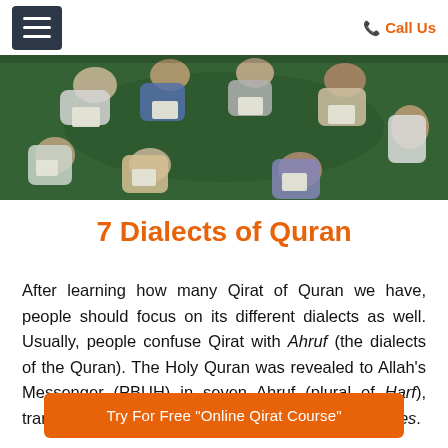≡  Call Us
[Figure (photo): Aerial top-down view of people (students) sitting in a circle on a green floor reading papers/books, wearing white and coloured clothing.]
7 Dialects of Quran
After learning how many Qirat of Quran we have, people should focus on its different dialects as well. Usually, people confuse Qirat with Ahruf (the dialects of the Quran). The Holy Quran was revealed to Allah's Messenger (PBUH) in seven Ahruf (plural of Harf), translated as ways, dialects, forms, modes, and styles.
Try For Free "Online Qirat Course"